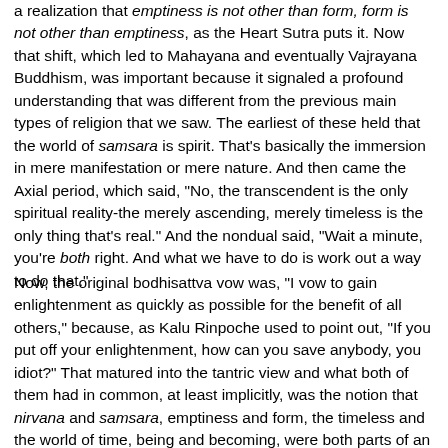a realization that emptiness is not other than form, form is not other than emptiness, as the Heart Sutra puts it. Now that shift, which led to Mahayana and eventually Vajrayana Buddhism, was important because it signaled a profound understanding that was different from the previous main types of religion that we saw. The earliest of these held that the world of samsara is spirit. That's basically the immersion in mere manifestation or mere nature. And then came the Axial period, which said, "No, the transcendent is the only spiritual reality-the merely ascending, merely timeless is the only thing that's real." And the nondual said, "Wait a minute, you're both right. And what we have to do is work out a way to do that."
Now, the original bodhisattva vow was, "I vow to gain enlightenment as quickly as possible for the benefit of all others," because, as Kalu Rinpoche used to point out, "If you put off your enlightenment, how can you save anybody, you idiot?" That matured into the tantric view and what both of them had in common, at least implicitly, was the notion that nirvana and samsara, emptiness and form, the timeless and the world of time, being and becoming, were both parts of an